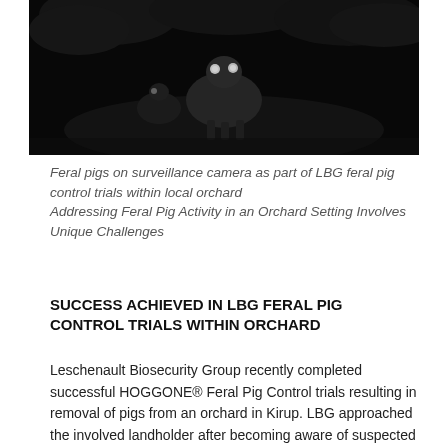[Figure (photo): Night vision / infrared surveillance camera image of feral pigs in an orchard at night. Dark grainy black and white image showing animals with glowing eyes.]
Feral pigs on surveillance camera as part of LBG feral pig control trials within local orchard
Addressing Feral Pig Activity in an Orchard Setting Involves Unique Challenges
SUCCESS ACHIEVED IN LBG FERAL PIG CONTROL TRIALS WITHIN ORCHARD
Leschenault Biosecurity Group recently completed successful HOGGONE® Feral Pig Control trials resulting in removal of pigs from an orchard in Kirup.  LBG approached the involved landholder after becoming aware of suspected pig activity within this